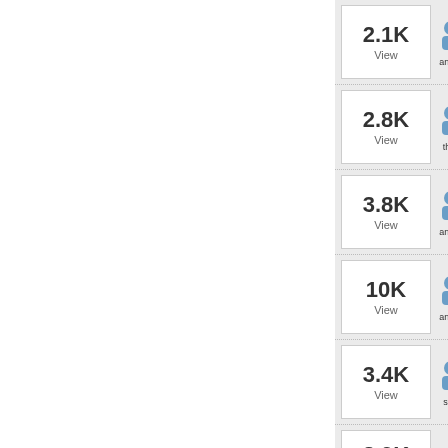| Views | User |
| --- | --- |
| 2.1K View | anonym... |
| 2.8K View | thetoe... |
| 3.8K View | anonym... |
| 10K View | anonym... |
| 3.4K View | susan... |
| 3.9K View | ... |